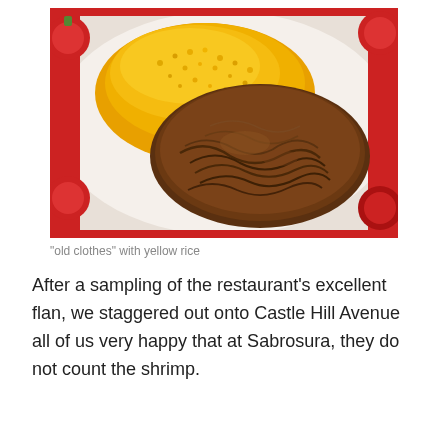[Figure (photo): A white plate with a red tomato pattern border, containing shredded braised beef (ropa vieja) on the right and a mound of yellow Spanish rice on the upper left.]
“old clothes” with yellow rice
After a sampling of the restaurant’s excellent flan, we staggered out onto Castle Hill Avenue all of us very happy that at Sabrosura, they do not count the shrimp.